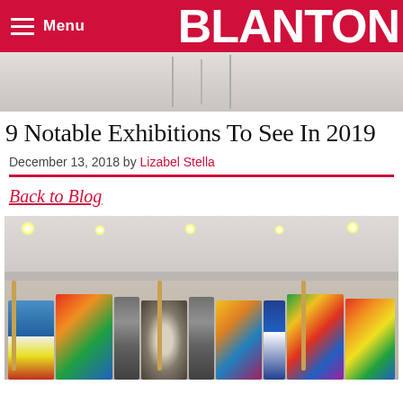Menu  BLANTON
[Figure (photo): Gallery interior with white ceiling and pendant lights, partially visible]
9 Notable Exhibitions To See In 2019
December 13, 2018 by Lizabel Stella
Back to Blog
[Figure (photo): Museum gallery interior showing colorful textile garments and quilts hanging from wooden poles suspended from a white drop ceiling with recessed lighting]